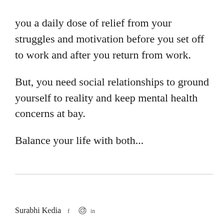you a daily dose of relief from your struggles and motivation before you set off to work and after you return from work.
But, you need social relationships to ground yourself to reality and keep mental health concerns at bay.
Balance your life with both...
Surabhi Kedia f © in